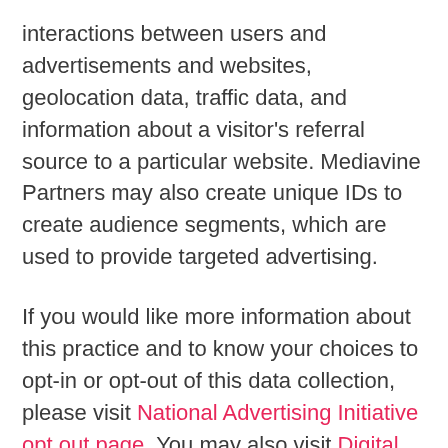interactions between users and advertisements and websites, geolocation data, traffic data, and information about a visitor's referral source to a particular website. Mediavine Partners may also create unique IDs to create audience segments, which are used to provide targeted advertising.
If you would like more information about this practice and to know your choices to opt-in or opt-out of this data collection, please visit National Advertising Initiative opt out page. You may also visit Digital Advertising Alliance website and Network Advertising Initiative website to learn more information about interest-based advertising. You may download the